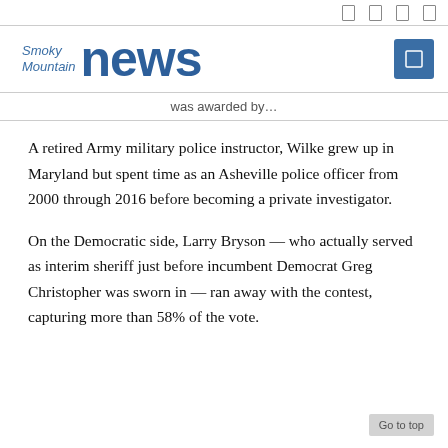[navigation icons]
[Figure (logo): Smoky Mountain News logo with search button]
was awarded by…
A retired Army military police instructor, Wilke grew up in Maryland but spent time as an Asheville police officer from 2000 through 2016 before becoming a private investigator.
On the Democratic side, Larry Bryson — who actually served as interim sheriff just before incumbent Democrat Greg Christopher was sworn in — ran away with the contest, capturing more than 58% of the vote.